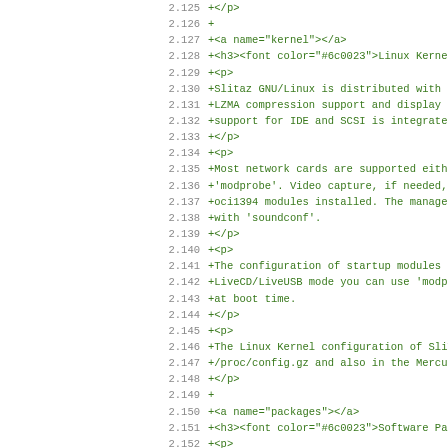Code diff view showing lines 2.125 through 2.156 of a file with HTML/documentation content about SliTaz GNU/Linux kernel and software packages
2.125  +</p>
2.126  +
2.127  +<a name="kernel"></a>
2.128  +<h3><font color="#6c0023">Linux Kernel<
2.129  +<p>
2.130  +Slitaz GNU/Linux is distributed with the
2.131  +LZMA compression support and display con
2.132  +support for IDE and SCSI is integrated,
2.133  +</p>
2.134  +<p>
2.135  +Most network cards are supported either
2.136  +'modprobe'. Video capture, if needed, re
2.137  +oci1394 modules installed. The managemen
2.138  +with 'soundconf'.
2.139  +</p>
2.140  +<p>
2.141  +The configuration of startup modules is
2.142  +LiveCD/LiveUSB mode you can use 'modprob
2.143  +at boot time.
2.144  +</p>
2.145  +<p>
2.146  +The Linux Kernel configuration of SliTaz
2.147  +/proc/config.gz and also in the Mercuria
2.148  +</p>
2.149  +
2.150  +<a name="packages"></a>
2.151  +<h3><font color="#6c0023">Software Packa
2.152  +<p>
2.153  +The management of software packages is d
2.154  +"Tazpkg". It's simple, fast, stable and
2.155  +446 packages available you will find any
2.156  +machine to a complete graphical desktop